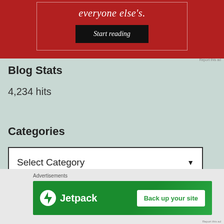[Figure (screenshot): Red advertisement banner with italic white text 'everyone else's.' and a black 'Start reading' button, bordered by a thin white rectangle]
Blog Stats
4,234 hits
Categories
[Figure (screenshot): A dropdown selector UI element with text 'Select Category' and a downward arrow]
Advertisements
[Figure (screenshot): Jetpack advertisement banner on green background with Jetpack logo and 'Back up your site' white button]